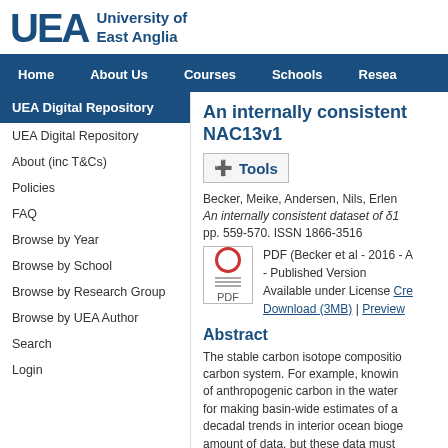[Figure (logo): University of East Anglia logo with stylized UEA letters and university name]
Home | About Us | Courses | Schools | Resea...
An internally consistent ... NAC13v1
+ Tools
Becker, Meike, Andersen, Nils, Erlen... An internally consistent dataset of δ1... pp. 559-570. ISSN 1866-3516
PDF (Becker et al - 2016 - ... - Published Version Available under License Cre... Download (3MB) | Preview
Abstract
The stable carbon isotope compositio... carbon system. For example, knowin... of anthropogenic carbon in the water... for making basin-wide estimates of a... decadal trends in interior ocean bioge... amount of data, but these data must ... dataset for the North Atlantic which h...